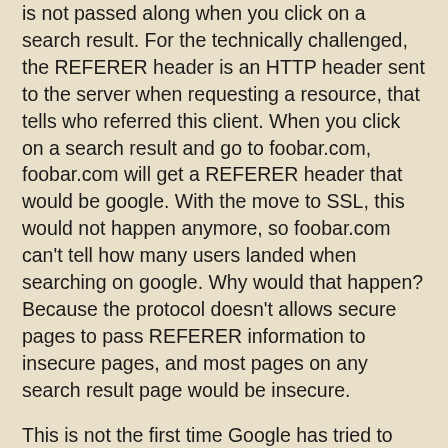is not passed along when you click on a search result. For the technically challenged, the REFERER header is an HTTP header sent to the server when requesting a resource, that tells who referred this client. When you click on a search result and go to foobar.com, foobar.com will get a REFERER header that would be google. With the move to SSL, this would not happen anymore, so foobar.com can't tell how many users landed when searching on google. Why would that happen? Because the protocol doesn't allows secure pages to pass REFERER information to insecure pages, and most pages on any search result page would be insecure.
This is not the first time Google has tried to prevent information flow via the REFERER header. Why is this important? When you search on google and then click on a site, that site gets access to the REFERER header, which lets them know you are coming from google, and also provides information on which search terms brought you to their site. The content publisher then knows what percentage of organic search traffic they are getting, and what keywords are important. There are a host of site analytics tools that use REFERER for this reason. But that's